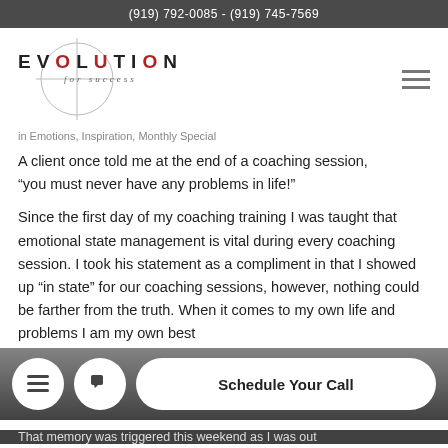(919) 792-0085 - (919) 745-7569
[Figure (logo): Evolution for Success logo with crosshair circle and bold spaced text]
in Emotions, Inspiration, Monthly Special
A client once told me at the end of a coaching session, “you must never have any problems in life!”
Since the first day of my coaching training I was taught that emotional state management is vital during every coaching session. I took his statement as a compliment in that I showed up “in state” for our coaching sessions, however, nothing could be farther from the truth. When it comes to my own life and problems I am my own best
That memory was triggered this weekend as I was out